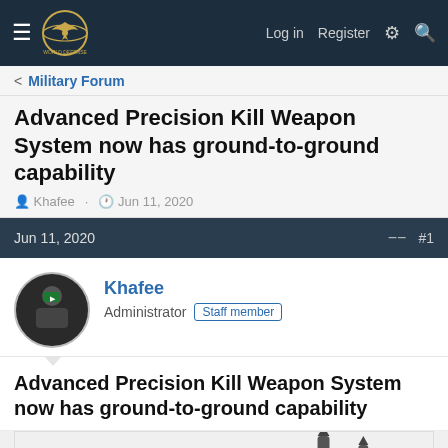Log in  Register
Military Forum
Advanced Precision Kill Weapon System now has ground-to-ground capability
Khafee · Jun 11, 2020
Jun 11, 2020  #1
Khafee
Administrator  Staff member
Advanced Precision Kill Weapon System now has ground-to-ground capability
[Figure (photo): Partial view of missile/munition components on a white background]